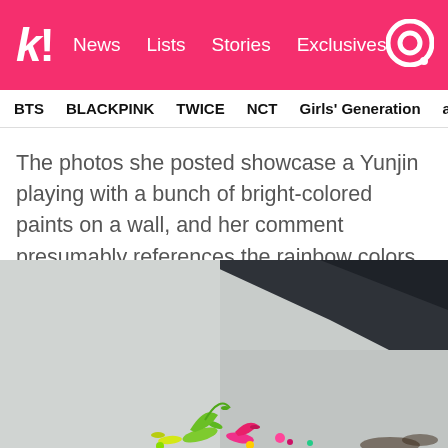k! News Lists Stories Exclusives
BTS  BLACKPINK  TWICE  NCT  Girls' Generation  aespa
The photos she posted showcase a Yunjin playing with a bunch of bright-colored paints on a wall, and her comment presumably references the rainbow colors that are often associated with the LGBTQ+ community.
[Figure (photo): Photo of colorful paint splashes on a wall, with a ceiling visible in the upper right. Bright neon colors including green, pink, and yellow paint are splattered at the bottom of a light gray wall.]